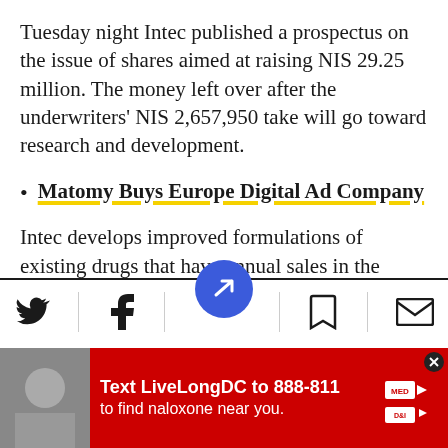Tuesday night Intec published a prospectus on the issue of shares aimed at raising NIS 29.25 million. The money left over after the underwriters' NIS 2,657,950 take will go toward research and development.
Matomy Buys Europe Digital Ad Company
Intec develops improved formulations of existing drugs that have annual sales in the hundreds of millions of dollars. Company sources say that impr  g existing drugs is
[Figure (other): Bottom navigation toolbar with Twitter, Facebook, bookmark, and mail icons, plus a blue circular FAB button with a news/arrow icon in the center]
[Figure (other): Red advertisement banner: Text LiveLongDC to 888-811 to find naloxone near you, with logos on the right and a photo on the left]